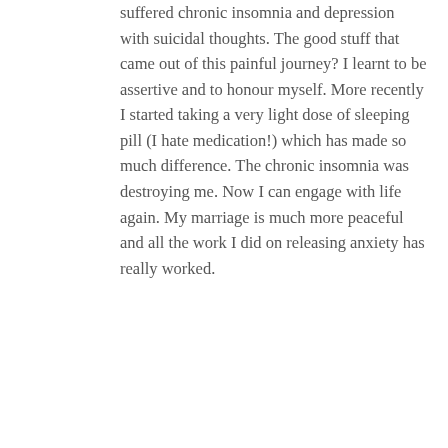suffered chronic insomnia and depression with suicidal thoughts. The good stuff that came out of this painful journey? I learnt to be assertive and to honour myself. More recently I started taking a very light dose of sleeping pill (I hate medication!) which has made so much difference. The chronic insomnia was destroying me. Now I can engage with life again. My marriage is much more peaceful and all the work I did on releasing anxiety has really worked.
Reply
Katie says:
December 2, 2015 at 5:38 pm
[Figure (photo): Avatar photo of Katie, a woman with blonde hair and a patterned scarf]
Carolyn, this is so good to hear- what incredible insights you've had through CFS. Sending you lots of love in life and continued